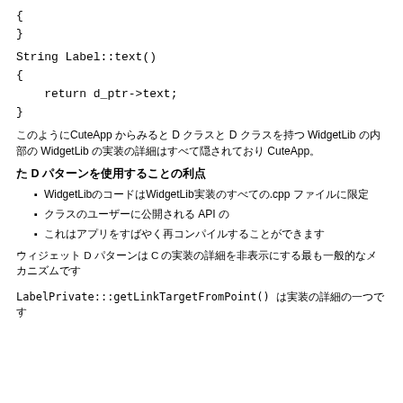{
}
String Label::text()
{
    return d_ptr->text;
}
このようにCuteApp からみると D クラスと D クラスを持つ WidgetLib の内部の WidgetLib の実装の詳細はすべて隠されており CuteApp。
た D パターンを使用することの利点
WidgetLibのコードはWidgetLib実装のすべての.cpp ファイルに限定
クラスのユーザーに公開される API の
これはアプリをすばやく再コンパイルすることができます
ウィジェット D パターンは C の実装の詳細を非表示にする最も一般的なメカニズムです
LabelPrivate:::getLinkTargetFromPoint() は実装の詳細の一つです